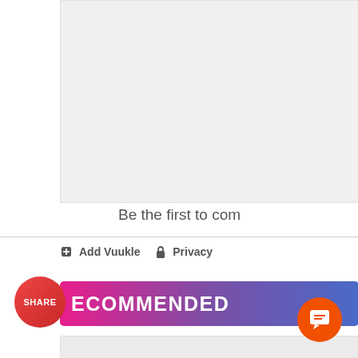[Figure (screenshot): Light gray content box at top of page]
Be the first to com
Add Vuukle  Privacy
[Figure (screenshot): Recommended banner with gradient from pink to purple to blue, with SHARE circular badge on left]
[Figure (screenshot): Bottom content area with PeepingMoon.com watermark logo and orange chat button]